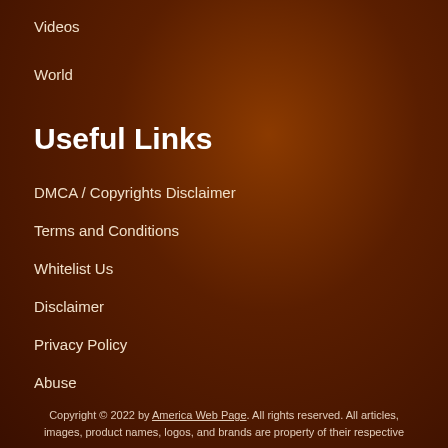Videos
World
Useful Links
DMCA / Copyrights Disclaimer
Terms and Conditions
Whitelist Us
Disclaimer
Privacy Policy
Abuse
Copyright © 2022 by America Web Page. All rights reserved. All articles, images, product names, logos, and brands are property of their respective